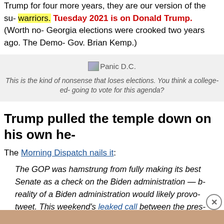Trump for four more years, they are our version of the su- warriors. Tuesday 2021 is on Donald Trump. (Worth no- Georgia elections were crooked two years ago. The Demo- Gov. Brian Kemp.)
[Figure (other): Image placeholder labeled 'Panic D.C.' with broken image icon]
This is the kind of nonsense that loses elections. You think a college-ed- going to vote for this agenda?
Trump pulled the temple down on his own he-
The Morning Dispatch nails it:
The GOP was hamstrung from fully making its best Senate as a check on the Biden administration — b- reality of a Biden administration would likely provo- tweet. This weekend's leaked call between the pres-
Advertisements